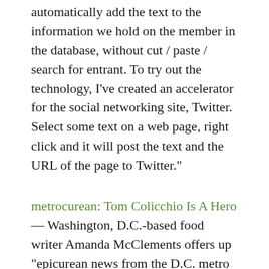automatically add the text to the information we hold on the member in the database, without cut / paste / search for entrant. To try out the technology, I've created an accelerator for the social networking site, Twitter. Select some text on a web page, right click and it will post the text and the URL of the page to Twitter."
metrocurean: Tom Colicchio Is A Hero — Washington, D.C.-based food writer Amanda McClements offers up "epicurean news from the D.C. metro area" in her Metrocurean blog. In my mind, it's a must read. Yesterday she wrote that "The Internet Food Association has the scoop on "Top Chef" Tom Colicchio's heroic act last night during a celeb-studded shindig at James Beard award-winning cookbook author